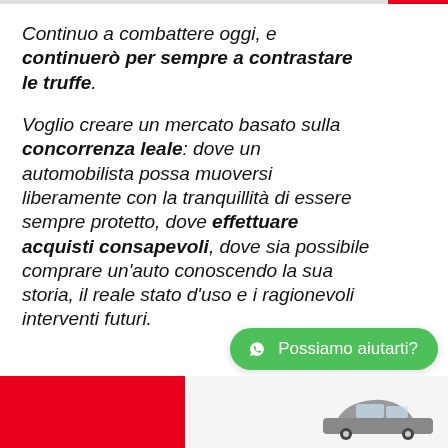Continuo a combattere oggi, e continuerò per sempre a contrastare le truffe.
Voglio creare un mercato basato sulla concorrenza leale: dove un automobilista possa muoversi liberamente con la tranquillità di essere sempre protetto, dove effettuare acquisti consapevoli, dove sia possibile comprare un'auto conoscendo la sua storia, il reale stato d'uso e i ragionevoli interventi futuri.
[Figure (other): WhatsApp chat button with text 'Possiamo aiutarti?' in green pill shape, and a red block with a car image at the bottom of the page]